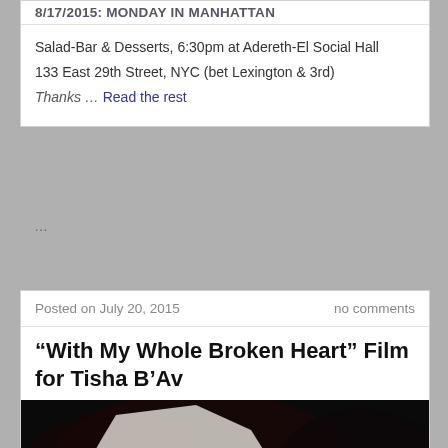8/17/2015: MONDAY IN MANHATTAN
Salad-Bar & Desserts, 6:30pm at Adereth-El Social Hall
133 East 29th Street, NYC (bet Lexington & 3rd)
Thanks … Read the rest
…
Posted on July 20, 2015
no comments
“With My Whole Broken Heart” Film for Tisha B’Av
[Figure (photo): Dark movie poster for 'With My Whole Broken Heart' showing a silhouette of a child standing against a torn paper background with cosmic/dark imagery. Text on right reads 'WITH WHOLE BRO' and 'SUNDAY, JU' in white and orange/red letters.]